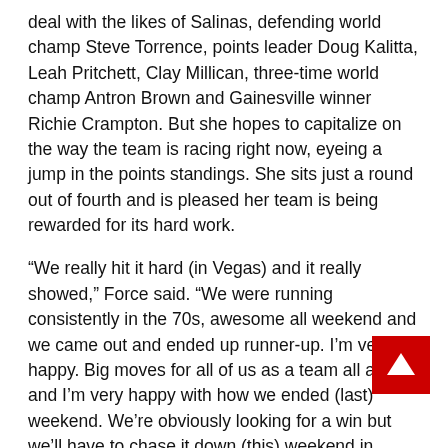deal with the likes of Salinas, defending world champ Steve Torrence, points leader Doug Kalitta, Leah Pritchett, Clay Millican, three-time world champ Antron Brown and Gainesville winner Richie Crampton. But she hopes to capitalize on the way the team is racing right now, eyeing a jump in the points standings. She sits just a round out of fourth and is pleased her team is being rewarded for its hard work.
“We really hit it hard (in Vegas) and it really showed,” Force said. “We were running consistently in the 70s, awesome all weekend and we came out and ended up runner-up. I’m very happy. Big moves for all of us as a team all around and I’m very happy with how we ended (last) weekend. We’re obviously looking for a win but we’ll have to chase it down (this) weekend in Houston.”
In Funny Car, J.R. Todd will look to grab early-season momentum as the defending world champion will face with points leader Robert Hight, who has two wins in 2019, Phoenix winner Matt Hagan, 16-time world champion John
[Figure (other): Red back-to-top button with white upward arrow]